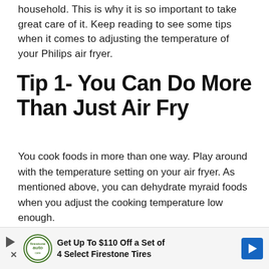household. This is why it is so important to take great care of it. Keep reading to see some tips when it comes to adjusting the temperature of your Philips air fryer.
Tip 1- You Can Do More Than Just Air Fry
You cook foods in more than one way. Play around with the temperature setting on your air fryer. As mentioned above, you can dehydrate myraid foods when you adjust the cooking temperature low enough.
[Figure (other): Advertisement banner: Get Up To $110 Off a Set of 4 Select Firestone Tires, with Firestone auto logo and blue arrow icon]